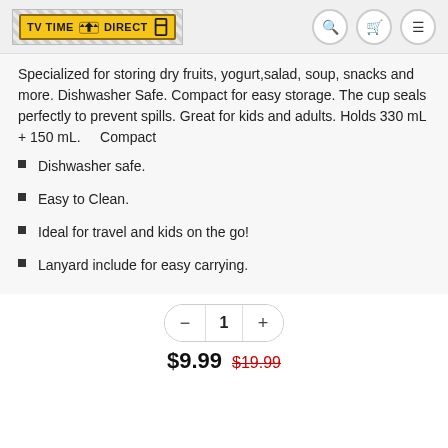TV TIME DIRECT
Specialized for storing dry fruits, yogurt,salad, soup, snacks and more. Dishwasher Safe. Compact for easy storage. The cup seals perfectly to prevent spills. Great for kids and adults. Holds 330 mL + 150 mL. Compact
Dishwasher safe.
Easy to Clean.
Ideal for travel and kids on the go!
Lanyard include for easy carrying.
1
$9.99  $19.99